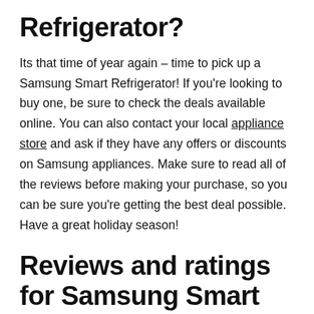Refrigerator?
Its that time of year again – time to pick up a Samsung Smart Refrigerator! If you're looking to buy one, be sure to check the deals available online. You can also contact your local appliance store and ask if they have any offers or discounts on Samsung appliances. Make sure to read all of the reviews before making your purchase, so you can be sure you're getting the best deal possible. Have a great holiday season!
Reviews and ratings for Samsung Smart Refrigerators